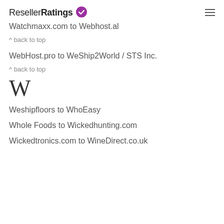ResellerRatings
Watchmaxx.com to Webhost.al
^ back to top
WebHost.pro to WeShip2World / STS Inc.
^ back to top
W
Weshipfloors to WhoEasy
Whole Foods to Wickedhunting.com
Wickedtronics.com to WineDirect.co.uk